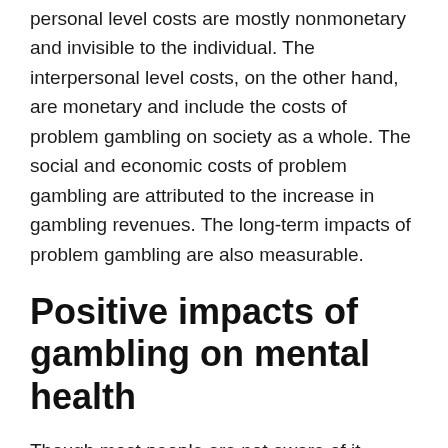personal level costs are mostly nonmonetary and invisible to the individual. The interpersonal level costs, on the other hand, are monetary and include the costs of problem gambling on society as a whole. The social and economic costs of problem gambling are attributed to the increase in gambling revenues. The long-term impacts of problem gambling are also measurable.
Positive impacts of gambling on mental health
Though most people are not aware of it, gambling has many benefits for your mental health. Aside from providing you with entertainment, gambling can improve your mood and even sharpen your brain. It is even beneficial for your social life, especially if you are